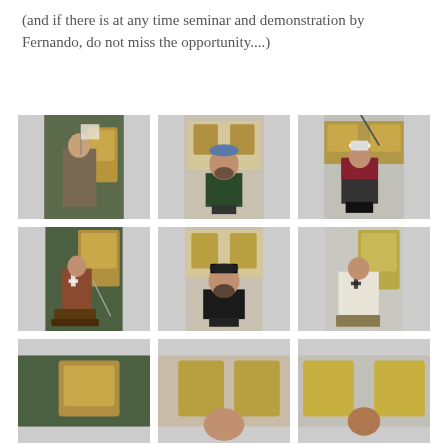(and if there is at any time seminar and demonstration by Fernando, do not miss the opportunity....)
[Figure (photo): Painted miniature figure of a medieval soldier holding a flag/banner, displayed on a table with wooden chairs in the background.]
[Figure (photo): Painted miniature bust of a bearded man wearing a blue cap and dark jacket, on a display stand.]
[Figure (photo): Painted miniature figure in red and dark armor holding a long rifle/musket, on a black base.]
[Figure (photo): Painted miniature figure of a medieval knight with sword and cross emblem on surcoat, on a wooden base with scenic groundwork.]
[Figure (photo): Painted miniature bust of a bearded man with black hat, on a dark display plinth.]
[Figure (photo): Painted miniature figure of a medieval Teutonic knight/monk in white habit with cross, on a scenic base.]
[Figure (photo): Partially visible painted miniature figure, bottom row left, cut off by page edge.]
[Figure (photo): Partially visible painted miniature bust or figure, bottom row center, cut off by page edge.]
[Figure (photo): Partially visible painted miniature figure, bottom row right, cut off by page edge.]